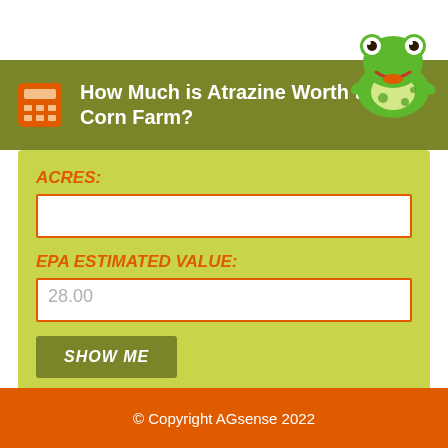[Figure (illustration): Cartoon green frog character smiling, positioned in upper right corner]
How Much is Atrazine Worth to Your Corn Farm?
ACRES:
EPA ESTIMATED VALUE:
28.00
SHOW ME
© Copyright AGsense 2022